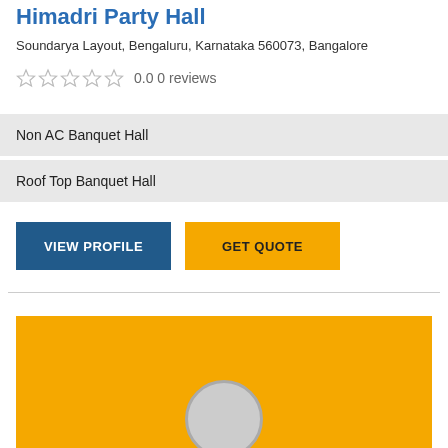Himadri Party Hall
Soundarya Layout, Bengaluru, Karnataka 560073, Bangalore
0.0 0 reviews
Non AC Banquet Hall
Roof Top Banquet Hall
VIEW PROFILE
GET QUOTE
[Figure (illustration): Yellow banner/advertisement block with a circular profile icon at the bottom center]